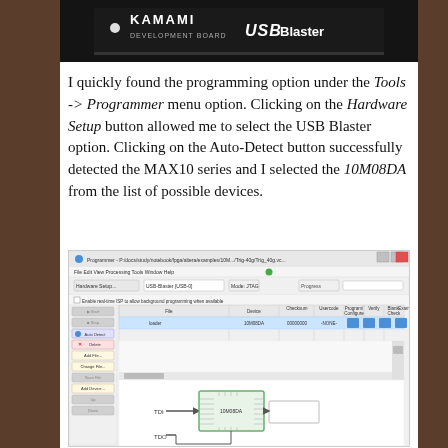[Figure (photo): Top cropped image showing a Kamami development board USB Blaster device with white text on dark background]
I quickly found the programming option under the Tools -> Programmer menu option. Clicking on the Hardware Setup button allowed me to select the USB Blaster option. Clicking on the Auto-Detect button successfully detected the MAX10 series and I selected the 10M08DA from the list of possible devices.
[Figure (screenshot): Screenshot of the Altera Programmer software showing USB-Blaster II hardware setup, with the 10M08DA device detected, Auto Detect, Delete, Add File, Change File, Save File, Add Device buttons visible on the left, and a device chain diagram showing TDI and TDO connections to the 10M08DA chip.]